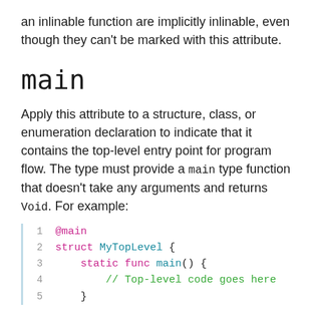an inlinable function are implicitly inlinable, even though they can't be marked with this attribute.
main
Apply this attribute to a structure, class, or enumeration declaration to indicate that it contains the top-level entry point for program flow. The type must provide a main type function that doesn't take any arguments and returns Void. For example:
1  @main
2  struct MyTopLevel {
3      static func main() {
4          // Top-level code goes here
5      }